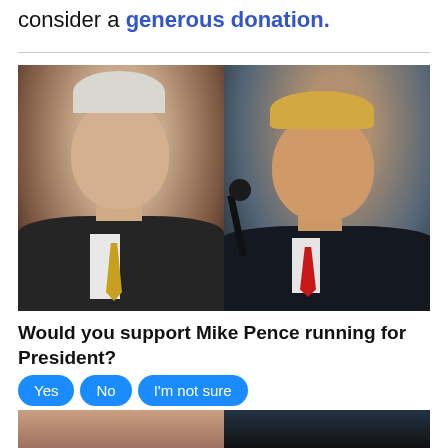consider a generous donation.
[Figure (photo): Side-by-side photos of Mike Pence (left, in dark suit with gold tie, white background) and Donald Trump (right, speaking at microphone in dark suit with red tie)]
Would you support Mike Pence running for President?
Yes  No  I'm not sure
6,673 Votes
[Figure (photo): Partial bottom photos of two individuals, cropped at bottom of page]